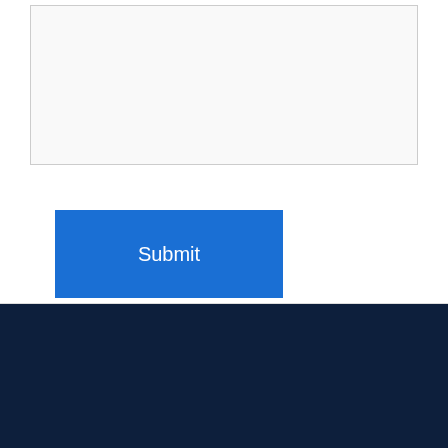[Figure (screenshot): A white textarea input box with a light gray background and border, used for form input]
[Figure (screenshot): A blue Submit button with white text, rectangular shape]
Copyrights @ World Web Solutions 2020